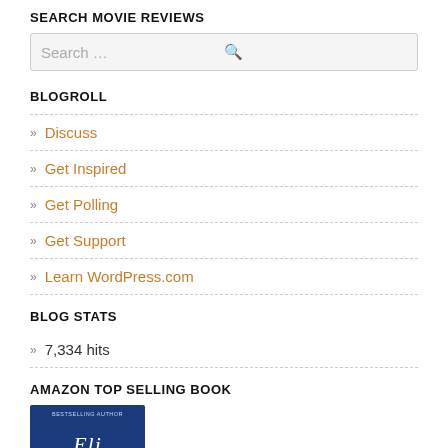SEARCH MOVIE REVIEWS
Search ...
BLOGROLL
Discuss
Get Inspired
Get Polling
Get Support
Learn WordPress.com
BLOG STATS
7,334 hits
AMAZON TOP SELLING BOOK
[Figure (photo): Blue book cover with italic text]